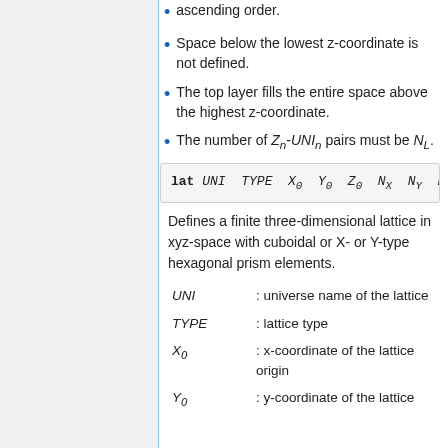ascending order.
Space below the lowest z-coordinate is not defined.
The top layer fills the entire space above the highest z-coordinate.
The number of Z_n-UNI_n pairs must be N_L.
[Figure (screenshot): Code block showing: lat UNI TYPE X_0 Y_0 Z_0 N_X N_Y N_Z ...]
Defines a finite three-dimensional lattice in xyz-space with cuboidal or X- or Y-type hexagonal prism elements.
| Parameter | Description |
| --- | --- |
| UNI | : universe name of the lattice |
| TYPE | : lattice type |
| X_0 | : x-coordinate of the lattice origin |
| Y_0 | : y-coordinate of the lattice origin |